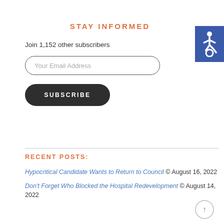STAY INFORMED
Join 1,152 other subscribers
Your Email Address
SUBSCRIBE
[Figure (infographic): Blue accessibility badge icon (wheelchair symbol) in top right corner]
RECENT POSTS:
Hypocritical Candidate Wants to Return to Council © August 16, 2022
Don't Forget Who Blocked the Hospital Redevelopment © August 14, 2022